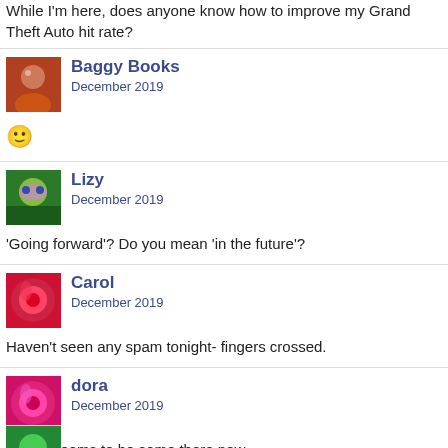While I'm here, does anyone know how to improve my Grand Theft Auto hit rate?
Baggy Books
December 2019
🙂
Lizy
December 2019
'Going forward'? Do you mean 'in the future'?
Carol
December 2019
Haven't seen any spam tonight- fingers crossed.
dora
December 2019
Oops. Seems to be some there now